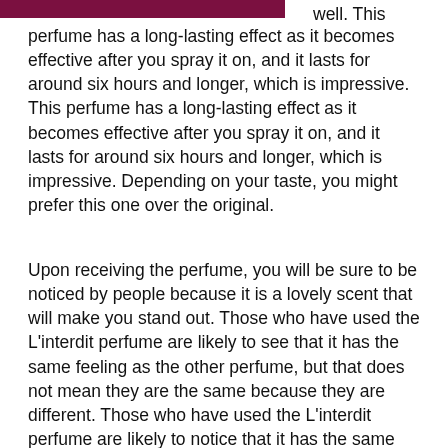well. This perfume has a long-lasting effect as it becomes effective after you spray it on, and it lasts for around six hours and longer, which is impressive. This perfume has a long-lasting effect as it becomes effective after you spray it on, and it lasts for around six hours and longer, which is impressive. Depending on your taste, you might prefer this one over the original.
Upon receiving the perfume, you will be sure to be noticed by people because it is a lovely scent that will make you stand out. Those who have used the L'interdit perfume are likely to see that it has the same feeling as the other perfume, but that does not mean they are the same because they are different. Those who have used the L'interdit perfume are likely to notice that it has the same feeling as the other perfume, but that does not mean they are the